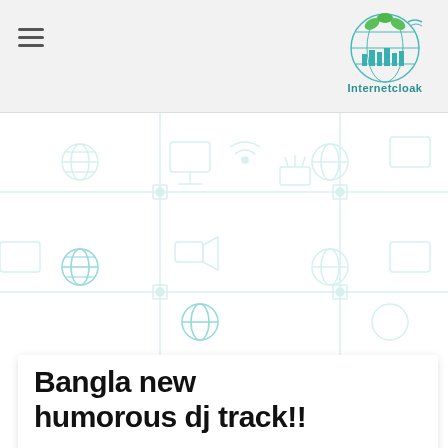Internetcloak
[Figure (illustration): Decorative internet/network technology pattern background with light blue circuit board icons including globes, wifi symbols, routers and network nodes on white background]
Bangla new humorous dj track!!